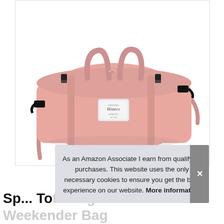[Figure (photo): Pink duffel tote bag (Hinteso brand) with top handles, detachable shoulder strap, and a small brand label patch on the front, photographed on a white background.]
As an Amazon Associate I earn from qualifying purchases. This website uses the only necessary cookies to ensure you get the best experience on our website. More information
Sp... Tote Bag for Women Weekender Bag